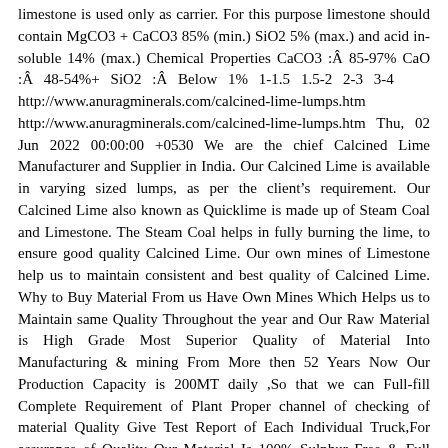limestone is used only as carrier. For this purpose limestone should contain MgCO3 + CaCO3 85% (min.) SiO2 5% (max.) and acid in-soluble 14% (max.) Chemical Properties CaCO3 :&Acirc;&nbsp;85-97% CaO :&Acirc;&nbsp;48-54%+ SiO2 :&Acirc;&nbsp;Below 1% 1-1.5 1.5-2 2-3 3-4 &nbsp; &nbsp; http://www.anuragminerals.com/calcined-lime-lumps.htm http://www.anuragminerals.com/calcined-lime-lumps.htm Thu, 02 Jun 2022 00:00:00 +0530 We are the chief Calcined Lime Manufacturer and Supplier in India. Our Calcined Lime is available in varying sized lumps, as per the client&rsquo;s requirement. Our Calcined Lime also known as Quicklime is made up of Steam Coal and Limestone. The Steam Coal helps in fully burning the lime, to ensure good quality Calcined Lime. Our own mines of Limestone help us to maintain consistent and best quality of Calcined Lime. Why to Buy Material From us Have Own Mines Which Helps us to Maintain same Quality Throughout the year and Our Raw Material is High Grade Most Superior Quality of Material Into Manufacturing &amp; mining From More then 52 Years Now Our Production Capacity is 200MT daily ,So that we can Full-fill Complete Requirement of Plant Proper channel of checking of material Quality Give Test Report of Each Individual Truck,For assurance of Quality Our Material Is 100% Sulphur Free &amp; Full Burned ,as Full Burned Material Decreases Consumption Of Material &nbsp; Applications Steel Industries Sugar Industries Paper industries Aluminum Refineries Water